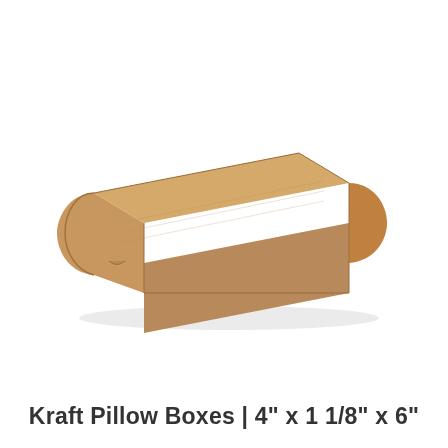[Figure (photo): A kraft brown cardboard pillow box photographed at an angle, showing the characteristic curved ends of a pillow box style. The box is plain brown kraft paperboard with no printing, viewed from slightly above and to the side, sitting on a white background.]
Kraft Pillow Boxes | 4" x 1 1/8" x 6"